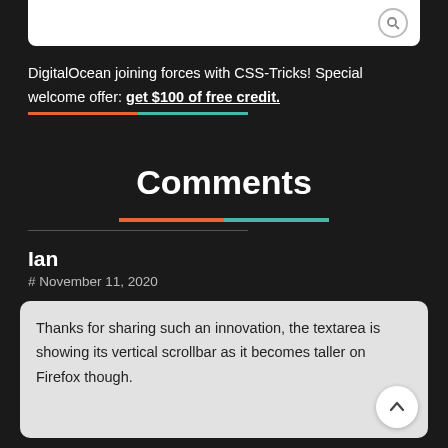DigitalOcean joining forces with CSS-Tricks! Special welcome offer: get $100 of free credit.
Comments
Ian
# November 11, 2020
Thanks for sharing such an innovation, the textarea is showing its vertical scrollbar as it becomes taller on Firefox though.